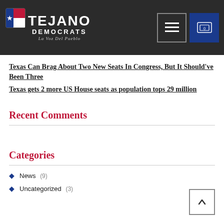Tejano Democrats — La Voz Del Pueblo
Texas Can Brag About Two New Seats In Congress, But It Should've Been Three
Texas gets 2 more US House seats as population tops 29 million
Recent Comments
Categories
News (9)
Uncategorized (3)